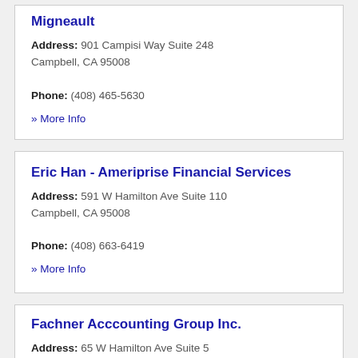Migneault
Address: 901 Campisi Way Suite 248 Campbell, CA 95008
Phone: (408) 465-5630
» More Info
Eric Han - Ameriprise Financial Services
Address: 591 W Hamilton Ave Suite 110 Campbell, CA 95008
Phone: (408) 663-6419
» More Info
Fachner Acccounting Group Inc.
Address: 65 W Hamilton Ave Suite 5...